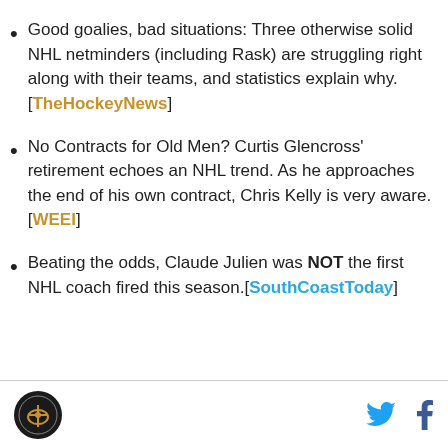Good goalies, bad situations: Three otherwise solid NHL netminders (including Rask) are struggling right along with their teams, and statistics explain why.[TheHockeyNews]
No Contracts for Old Men? Curtis Glencross' retirement echoes an NHL trend. As he approaches the end of his own contract, Chris Kelly is very aware.[WEEI]
Beating the odds, Claude Julien was NOT the first NHL coach fired this season.[SouthCoastToday]
Logo | Twitter | Facebook